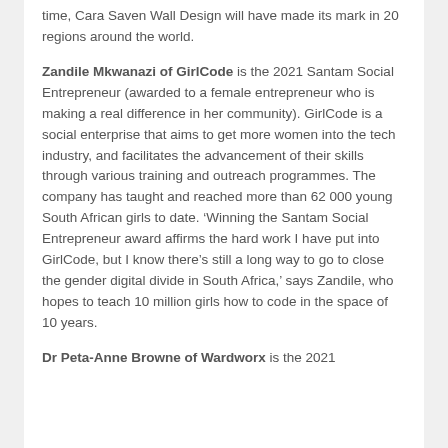time, Cara Saven Wall Design will have made its mark in 20 regions around the world.
Zandile Mkwanazi of GirlCode is the 2021 Santam Social Entrepreneur (awarded to a female entrepreneur who is making a real difference in her community). GirlCode is a social enterprise that aims to get more women into the tech industry, and facilitates the advancement of their skills through various training and outreach programmes. The company has taught and reached more than 62 000 young South African girls to date. 'Winning the Santam Social Entrepreneur award affirms the hard work I have put into GirlCode, but I know there’s still a long way to go to close the gender digital divide in South Africa,' says Zandile, who hopes to teach 10 million girls how to code in the space of 10 years.
Dr Peta-Anne Browne of Wardworx is the 2021